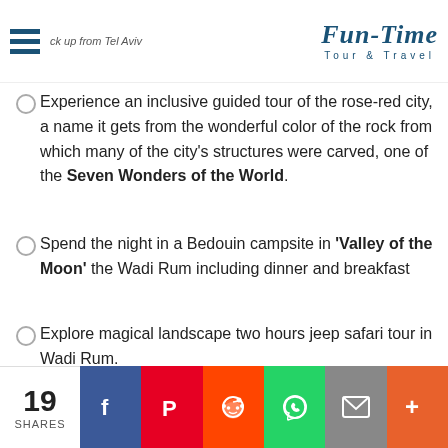Fun-Time Tour & Travel
Experience an inclusive guided tour of the rose-red city, a name it gets from the wonderful color of the rock from which many of the city's structures were carved, one of the Seven Wonders of the World.
Spend the night in a Bedouin campsite in 'Valley of the Moon' the Wadi Rum including dinner and breakfast
Explore magical landscape two hours jeep safari tour in Wadi Rum.
[Figure (photo): Interior photo of a Bedouin tent or desert accommodation with wooden beams, warm lighting, and stone/earth-colored walls]
19 SHARES | Facebook | Pinterest | Reddit | WhatsApp | Email | More